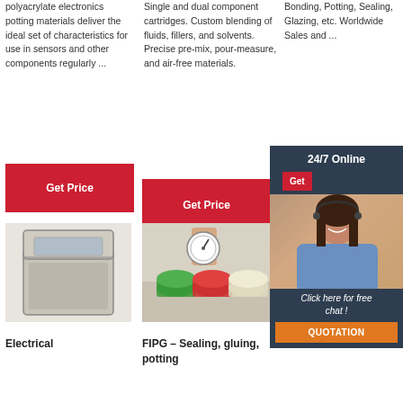polyacrylate electronics potting materials deliver the ideal set of characteristics for use in sensors and other components regularly ...
[Figure (other): Red 'Get Price' button]
Single and dual component cartridges. Custom blending of fluids, fillers, and solvents. Precise pre-mix, pour-measure, and air-free materials.
[Figure (other): Red 'Get Price' button]
Bonding, Potting, Sealing, Glazing, etc. Worldwide Sales and ...
[Figure (other): 24/7 Online chat widget with female operator photo, 'Get' button, 'Click here for free chat!' text, and orange QUOTATION button]
[Figure (photo): Electrical enclosure/box, gray plastic container with lid open]
[Figure (photo): FIPG sealing - hand holding gauge over colored compound containers]
[Figure (photo): Automated glue dispensing machine on conveyor]
Electrical
FIPG – Sealing, gluing, potting
Automated Glue